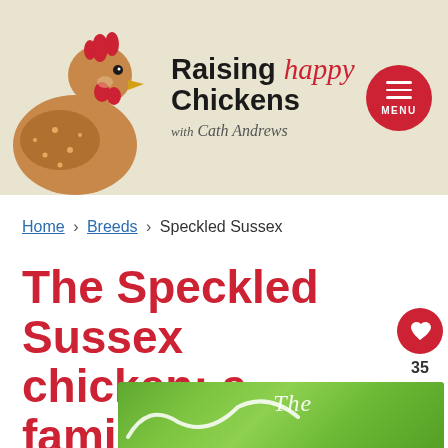Raising happy Chickens with Cath Andrews
Home › Breeds › Speckled Sussex
The Speckled Sussex chicken: a family-friendly chat-show host.
[Figure (photo): Partial view of a Speckled Sussex chicken article image with green background and the word 'The' visible]